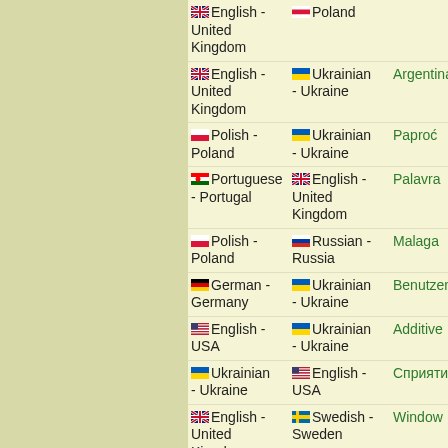| Language 1 | Language 2 | Word |
| --- | --- | --- |
| English - United Kingdom | Polish - Poland |  |
| English - United Kingdom | Ukrainian - Ukraine | Argentina |
| Polish - Poland | Ukrainian - Ukraine | Paproć |
| Portuguese - Portugal | English - United Kingdom | Palavra |
| Polish - Poland | Russian - Russia | Malaga |
| German - Germany | Ukrainian - Ukraine | Benutzen |
| English - USA | Ukrainian - Ukraine | Additive |
| Ukrainian - Ukraine | English - USA | Сприяти |
| English - United Kingdom | Swedish - Sweden | Window |
| English - USA | Russian - Russia | Breadcrumb |
| French - | Ukrainian | Fret |